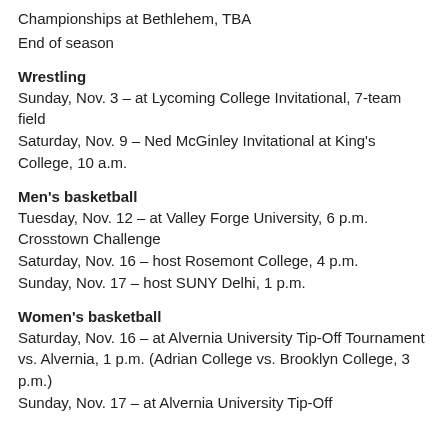Championships at Bethlehem, TBA
End of season
Wrestling
Sunday, Nov. 3 – at Lycoming College Invitational, 7-team field
Saturday, Nov. 9 – Ned McGinley Invitational at King's College, 10 a.m.
Men's basketball
Tuesday, Nov. 12 – at Valley Forge University, 6 p.m. Crosstown Challenge
Saturday, Nov. 16 – host Rosemont College, 4 p.m.
Sunday, Nov. 17 – host SUNY Delhi, 1 p.m.
Women's basketball
Saturday, Nov. 16 – at Alvernia University Tip-Off Tournament vs. Alvernia, 1 p.m. (Adrian College vs. Brooklyn College, 3 p.m.)
Sunday, Nov. 17 – at Alvernia University Tip-Off